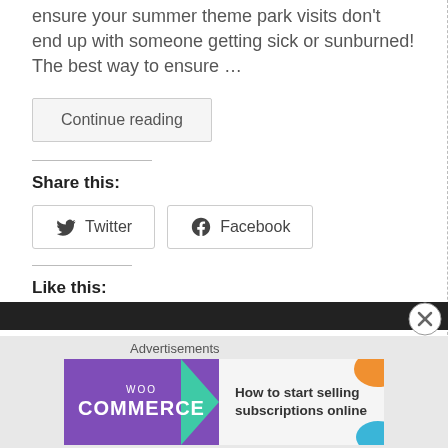ensure your summer theme park visits don't end up with someone getting sick or sunburned! The best way to ensure …
Continue reading
Share this:
Twitter
Facebook
Like this:
Loading…
Advertisements
[Figure (illustration): WooCommerce advertisement banner with text 'How to start selling subscriptions online']